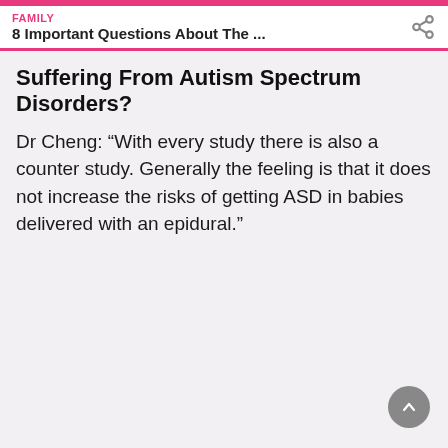FAMILY
8 Important Questions About The ...
Suffering From Autism Spectrum Disorders?
Dr Cheng: “With every study there is also a counter study. Generally the feeling is that it does not increase the risks of getting ASD in babies delivered with an epidural.”